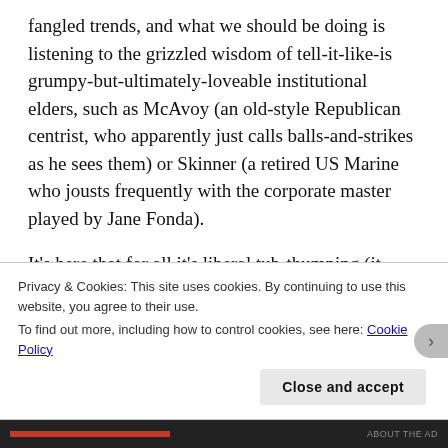fangled trends, and what we should be doing is listening to the grizzled wisdom of tell-it-like-is grumpy-but-ultimately-loveable institutional elders, such as McAvoy (an old-style Republican centrist, who apparently just calls balls-and-strikes as he sees them) or Skinner (a retired US Marine who jousts frequently with the corporate master played by Jane Fonda).
It's here that for all it's liberal tub-thumping (it regularly excoriates the Tea Party, the NRA, etc.) that The Newsroom reveals itself as favouring a deeply patrician and elitist view of the world. This is made
Privacy & Cookies: This site uses cookies. By continuing to use this website, you agree to their use.
To find out more, including how to control cookies, see here: Cookie Policy
Close and accept